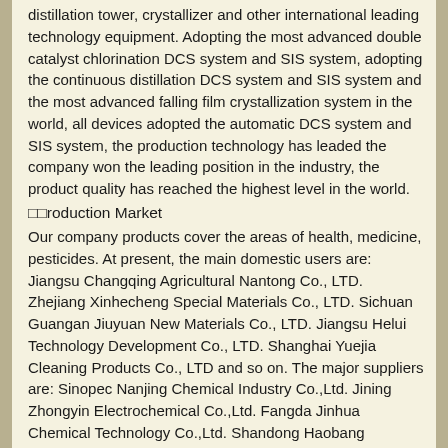distillation tower, crystallizer and other international leading technology equipment. Adopting the most advanced double catalyst chlorination DCS system and SIS system, adopting the continuous distillation DCS system and SIS system and the most advanced falling film crystallization system in the world, all devices adopted the automatic DCS system and SIS system, the production technology has leaded the company won the leading position in the industry, the product quality has reached the highest level in the world.
⬜⬜roduction Market
Our company products cover the areas of health, medicine, pesticides. At present, the main domestic users are: Jiangsu Changqing Agricultural Nantong Co., LTD. Zhejiang Xinhecheng Special Materials Co., LTD. Sichuan Guangan Jiuyuan New Materials Co., LTD. Jiangsu Helui Technology Development Co., LTD. Shanghai Yuejia Cleaning Products Co., LTD and so on. The major suppliers are: Sinopec Nanjing Chemical Industry Co.,Ltd. Jining Zhongyin Electrochemical Co.,Ltd. Fangda Jinhua Chemical Technology Co.,Ltd. Shandong Haobang Chemical Co.,Ltd. Tianjin Botian Industrial Chemical Trading Co.,Ltd and so on.
⬜⬜ooperation partners
⬜⬜ur Service